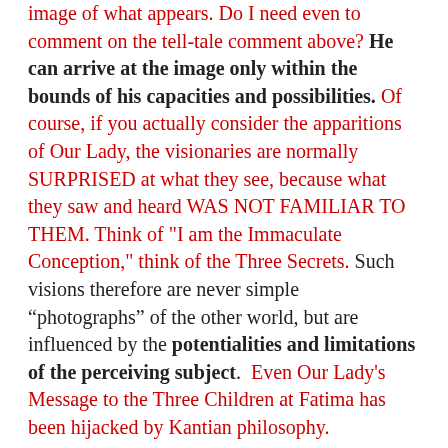image of what appears. Do I need even to comment on the tell-tale comment above? He can arrive at the image only within the bounds of his capacities and possibilities. Of course, if you actually consider the apparitions of Our Lady, the visionaries are normally SURPRISED at what they see, because what they saw and heard WAS NOT FAMILIAR TO THEM. Think of "I am the Immaculate Conception," think of the Three Secrets. Such visions therefore are never simple “photographs” of the other world, but are influenced by the potentialities and limitations of the perceiving subject.  Even Our Lady's Message to the Three Children at Fatima has been hijacked by Kantian philosophy. Contemporary Europeans can be truly ruthless and totally impious. This can be demonstrated in all the great visions of the saints; and naturally it is also true of the visions of the children at Fatima. The images described by them are by no means a simple suppression of their fantasy, but the